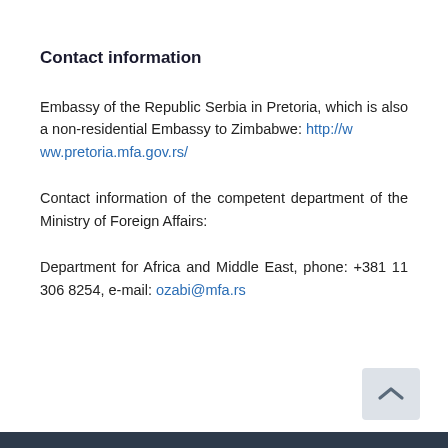Contact information
Embassy of the Republic Serbia in Pretoria, which is also a non-residential Embassy to Zimbabwe: http://www.pretoria.mfa.gov.rs/
Contact information of the competent department of the Ministry of Foreign Affairs:
Department for Africa and Middle East, phone: +381 11 306 8254, e-mail: ozabi@mfa.rs